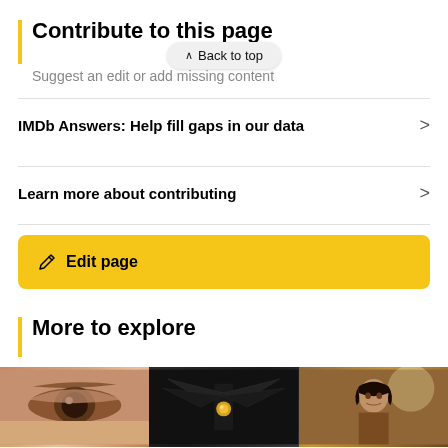Contribute to this page
Suggest an edit or add missing content
IMDb Answers: Help fill gaps in our data
Learn more about contributing
Edit page
More to explore
[Figure (photo): Three thumbnail images side by side: a close-up of an eye, a dark winged figure, and a warrior character]